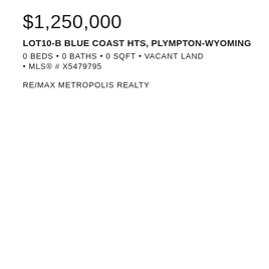$1,250,000
LOT10-B BLUE COAST HTS, PLYMPTON-WYOMING
0 BEDS • 0 BATHS • 0 SQFT • VACANT LAND
• MLS® # X5479795
RE/MAX METROPOLIS REALTY